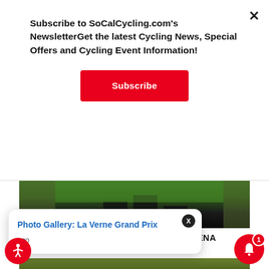Subscribe to SoCalCycling.com's NewsletterGet the latest Cycling News, Special Offers and Cycling Event Information!
Subscribe
[Figure (photo): Cyclists on podium with green and black backdrop at Rosena Ranch Circuit Race]
PHOTO GALLERY & RACE REPORT: ROSENA RANCH CIRCUIT RACE
[Figure (photo): Cycling race peloton, riders in colorful jerseys]
Photo Gallery: La Verne Grand Prix
ago